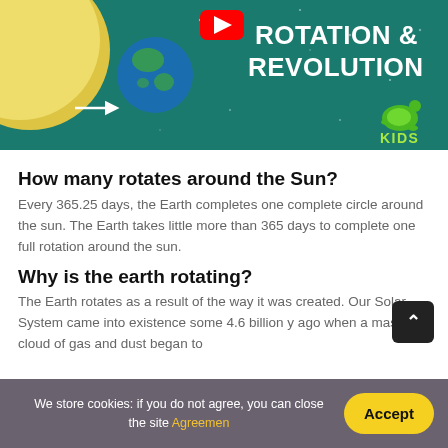[Figure (illustration): Educational video thumbnail showing the Sun and Earth with text 'ROTATION & REVOLUTION' on a teal background, with YouTube logo and kids turtle mascot.]
How many rotates around the Sun?
Every 365.25 days, the Earth completes one complete circle around the sun. The Earth takes little more than 365 days to complete one full rotation around the sun.
Why is the earth rotating?
The Earth rotates as a result of the way it was created. Our Solar System came into existence some 4.6 billion y ago when a massive cloud of gas and dust began to
We store cookies: if you do not agree, you can close the site Agreemen